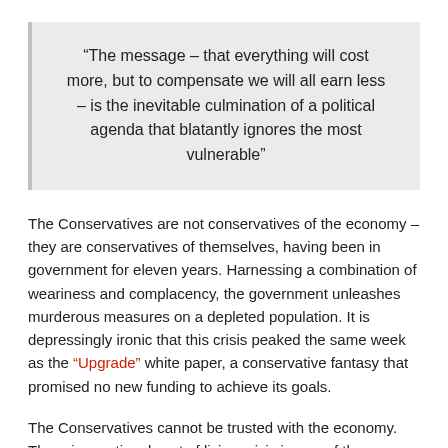“The message – that everything will cost more, but to compensate we will all earn less – is the inevitable culmination of a political agenda that blatantly ignores the most vulnerable”
The Conservatives are not conservatives of the economy – they are conservatives of themselves, having been in government for eleven years. Harnessing a combination of weariness and complacency, the government unleashes murderous measures on a depleted population. It is depressingly ironic that this crisis peaked the same week as the “Upgrade” white paper, a conservative fantasy that promised no new funding to achieve its goals.
The Conservatives cannot be trusted with the economy. There is a national cost of living crisis in one of the wealthiest countries on